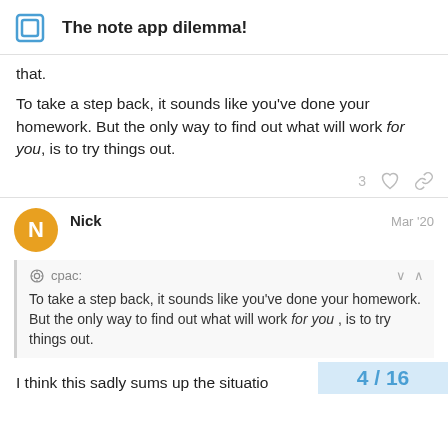The note app dilemma!
that.
To take a step back, it sounds like you've done your homework. But the only way to find out what will work for you, is to try things out.
Nick  Mar '20
cpac: To take a step back, it sounds like you've done your homework. But the only way to find out what will work for you , is to try things out.
I think this sadly sums up the situatio